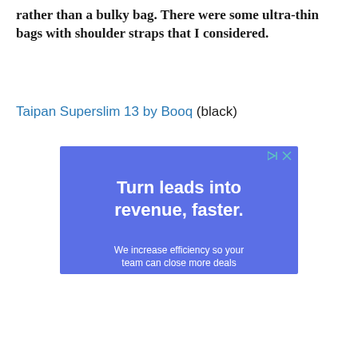rather than a bulky bag. There were some ultra-thin bags with shoulder straps that I considered.
Taipan Superslim 13 by Booq (black)
[Figure (other): Blue advertisement banner reading 'Turn leads into revenue, faster. We increase efficiency so your team can close more deals.' with play/close controls in top right corner.]